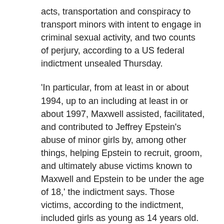acts, transportation and conspiracy to transport minors with intent to engage in criminal sexual activity, and two counts of perjury, according to a US federal indictment unsealed Thursday.
'In particular, from at least in or about 1994, up to an including at least in or about 1997, Maxwell assisted, facilitated, and contributed to Jeffrey Epstein's abuse of minor girls by, among other things, helping Epstein to recruit, groom, and ultimately abuse victims known to Maxwell and Epstein to be under the age of 18,' the indictment says. Those victims, according to the indictment, included girls as young as 14 years old.
An attorney for Maxwell, Jeffrey S. Pagliuca, didn't immediately respond to a request for comment Thursday.